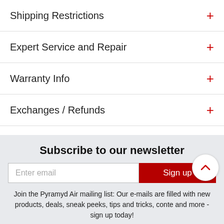Shipping Restrictions
Expert Service and Repair
Warranty Info
Exchanges / Refunds
Subscribe to our newsletter
Enter email
Sign up
Join the Pyramyd Air mailing list: Our e-mails are filled with new products, deals, sneak peeks, tips and tricks, conte and more - sign up today!
Airgun safety is no accident. You must be 18 years or older to buy any air gun or air rifle in our store.
Special Order
Order.